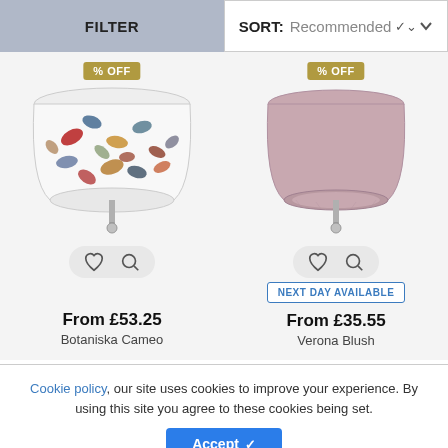FILTER | SORT: Recommended
[Figure (photo): Wall lamp with botanical leaf-patterned shade (Botaniska Cameo) with % OFF badge]
[Figure (photo): Wall lamp with plain blush/mauve shade (Verona Blush) with % OFF badge and NEXT DAY AVAILABLE label]
From £53.25
Botaniska Cameo
From £35.55
Verona Blush
Cookie policy, our site uses cookies to improve your experience. By using this site you agree to these cookies being set.
Accept ✓